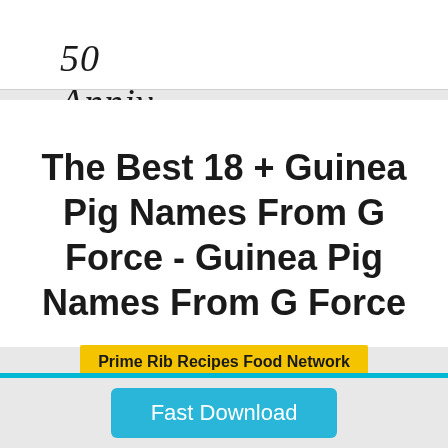50 Anniv
The Best 18 + Guinea Pig Names From G Force - Guinea Pig Names From G Force
Prime Rib Recipes Food Network
Fast Download